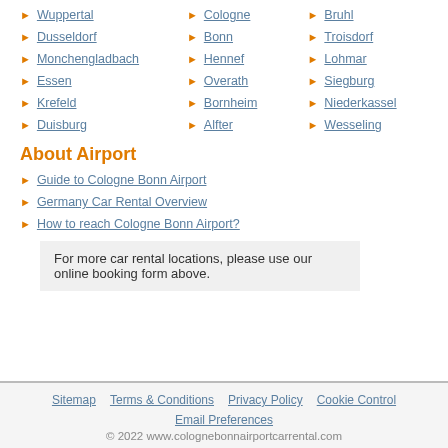Wuppertal
Cologne
Bruhl
Dusseldorf
Bonn
Troisdorf
Monchengladbach
Hennef
Lohmar
Essen
Overath
Siegburg
Krefeld
Bornheim
Niederkassel
Duisburg
Alfter
Wesseling
About Airport
Guide to Cologne Bonn Airport
Germany Car Rental Overview
How to reach Cologne Bonn Airport?
For more car rental locations, please use our online booking form above.
Sitemap  Terms & Conditions  Privacy Policy  Cookie Control  Email Preferences
© 2022 www.colognebonnairportcarrental.com